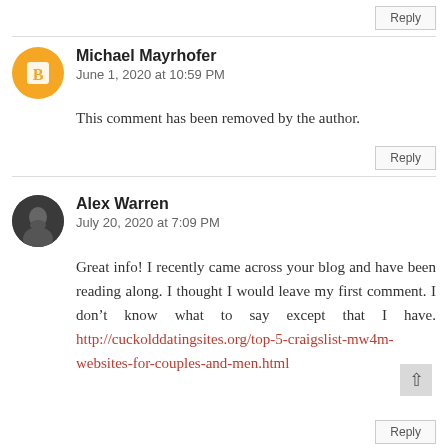Reply
Michael Mayrhofer
June 1, 2020 at 10:59 PM
This comment has been removed by the author.
Reply
Alex Warren
July 20, 2020 at 7:09 PM
Great info! I recently came across your blog and have been reading along. I thought I would leave my first comment. I don't know what to say except that I have. http://cuckolddatingsites.org/top-5-craigslist-mw4m-websites-for-couples-and-men.html
Reply